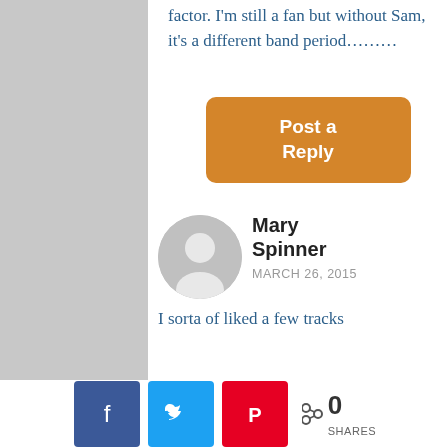factor. I'm still a fan but without Sam, it's a different band period………
Post a Reply
Mary Spinner
MARCH 26, 2015
I sorta of liked a few tracks